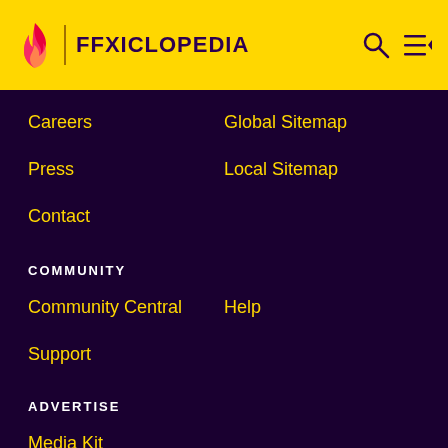FFXICLOPEDIA
Careers
Global Sitemap
Press
Local Sitemap
Contact
COMMUNITY
Community Central
Help
Support
ADVERTISE
Media Kit
Fandomatic